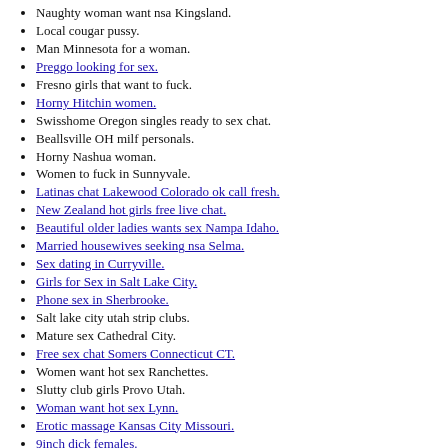Naughty woman want nsa Kingsland.
Local cougar pussy.
Man Minnesota for a woman.
Preggo looking for sex.
Fresno girls that want to fuck.
Horny Hitchin women.
Swisshome Oregon singles ready to sex chat.
Beallsville OH milf personals.
Horny Nashua woman.
Women to fuck in Sunnyvale.
Latinas chat Lakewood Colorado ok call fresh.
New Zealand hot girls free live chat.
Beautiful older ladies wants sex Nampa Idaho.
Married housewives seeking nsa Selma.
Sex dating in Curryville.
Girls for Sex in Salt Lake City.
Phone sex in Sherbrooke.
Salt lake city utah strip clubs.
Mature sex Cathedral City.
Free sex chat Somers Connecticut CT.
Women want hot sex Ranchettes.
Slutty club girls Provo Utah.
Woman want hot sex Lynn.
Erotic massage Kansas City Missouri.
9inch dick females.